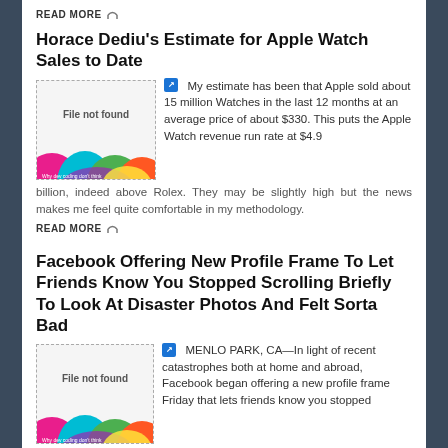READ MORE 🔗
Horace Dediu's Estimate for Apple Watch Sales to Date
[Figure (illustration): Thumbnail image placeholder with 'File not found' text and colorful wave pattern at bottom]
My estimate has been that Apple sold about 15 million Watches in the last 12 months at an average price of about $330. This puts the Apple Watch revenue run rate at $4.9 billion, indeed above Rolex. They may be slightly high but the news makes me feel quite comfortable in my methodology.
READ MORE 🔗
Facebook Offering New Profile Frame To Let Friends Know You Stopped Scrolling Briefly To Look At Disaster Photos And Felt Sorta Bad
[Figure (illustration): Thumbnail image placeholder with 'File not found' text and colorful wave pattern at bottom]
MENLO PARK, CA—In light of recent catastrophes both at home and abroad, Facebook began offering a new profile frame Friday that lets friends know you stopped scrolling for a second to look at disaster photos and felt sorta bad.
READ MORE 🔗